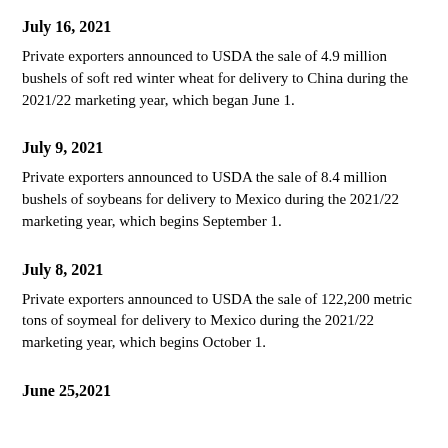July 16, 2021
Private exporters announced to USDA the sale of 4.9 million bushels of soft red winter wheat for delivery to China during the 2021/22 marketing year, which began June 1.
July 9, 2021
Private exporters announced to USDA the sale of 8.4 million bushels of soybeans for delivery to Mexico during the 2021/22 marketing year, which begins September 1.
July 8, 2021
Private exporters announced to USDA the sale of 122,200 metric tons of soymeal for delivery to Mexico during the 2021/22 marketing year, which begins October 1.
June 25,2021